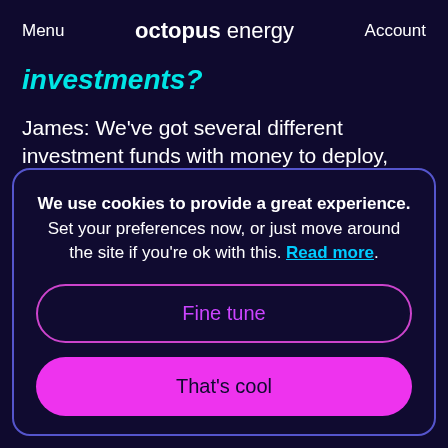Menu | octopus energy | Account
investments?
James: We've got several different investment funds with money to deploy, predominantly from institutional investors
We use cookies to provide a great experience. Set your preferences now, or just move around the site if you're ok with this. Read more.
Fine tune
That's cool